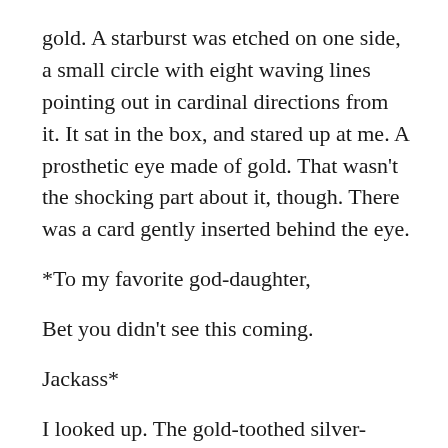gold. A starburst was etched on one side, a small circle with eight waving lines pointing out in cardinal directions from it. It sat in the box, and stared up at me. A prosthetic eye made of gold. That wasn't the shocking part about it, though. There was a card gently inserted behind the eye.
*To my favorite god-daughter,
Bet you didn't see this coming.
Jackass*
I looked up. The gold-toothed silver-haired woman sat in the seat opposite me. She was leaning back with a grin that begged me to smash out every single tooth. I wrapped my fingers around the tonfa, and she shook her head. “Violence isn’t the way to deal with me. You should’ve learned that by